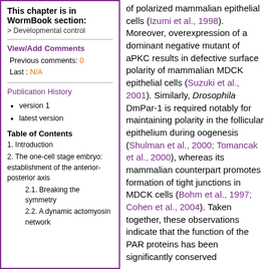This chapter is in WormBook section:
> Developmental control
View/Add Comments
Previous comments: 0
Last : N/A
Publication History
version 1
latest version
Table of Contents
1. Introduction
2. The one-cell stage embryo: establishment of the anterior-posterior axis
2.1. Breaking the symmetry
2.2. A dynamic actomyosin network
of polarized mammalian epithelial cells (Izumi et al., 1998). Moreover, overexpression of a dominant negative mutant of aPKC results in defective surface polarity of mammalian MDCK epithelial cells (Suzuki et al., 2001). Similarly, Drosophila DmPar-1 is required notably for maintaining polarity in the follicular epithelium during oogenesis (Shulman et al., 2000; Tomancak et al., 2000), whereas its mammalian counterpart promotes formation of tight junctions in MDCK cells (Bohm et al., 1997; Cohen et al., 2004). Taken together, these observations indicate that the function of the PAR proteins has been significantly conserved